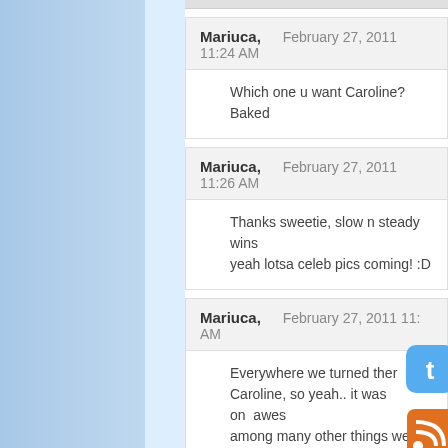Mariuca,   February 27, 2011 11:24 AM
Which one u want Caroline? Baked
Mariuca,   February 27, 2011 11:26 AM
Thanks sweetie, slow n steady wins yeah lotsa celeb pics coming! :D
Mariuca,   February 27, 2011 11:__ AM
Everywhere we turned ther_ll be Caroline, so yeah.. it was on_ awes among many other things we_id th